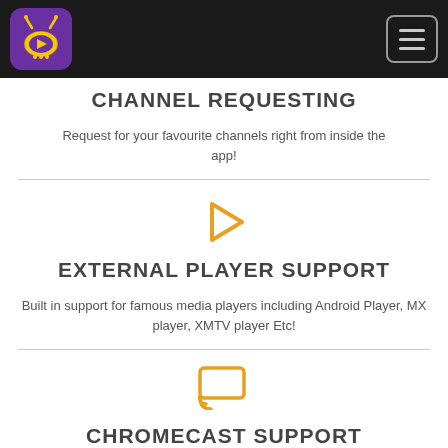[Figure (logo): TV streaming app logo - purple square with yellow TV/play icon]
CHANNEL REQUESTING
Request for your favourite channels right from inside the app!
[Figure (illustration): Orange/yellow play button triangle icon]
EXTERNAL PLAYER SUPPORT
Built in support for famous media players including Android Player, MX player, XMTV player Etc!
[Figure (illustration): Orange/yellow Chromecast icon]
CHROMECAST SUPPORT